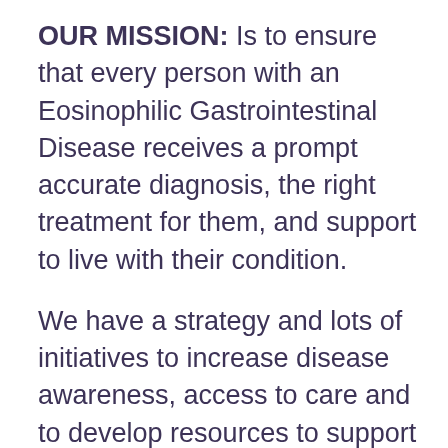OUR MISSION: Is to ensure that every person with an Eosinophilic Gastrointestinal Disease receives a prompt accurate diagnosis, the right treatment for them, and support to live with their condition.
We have a strategy and lots of initiatives to increase disease awareness, access to care and to develop resources to support patients and their families, but we are in urgent need of the funds to make them happen. That's why we are